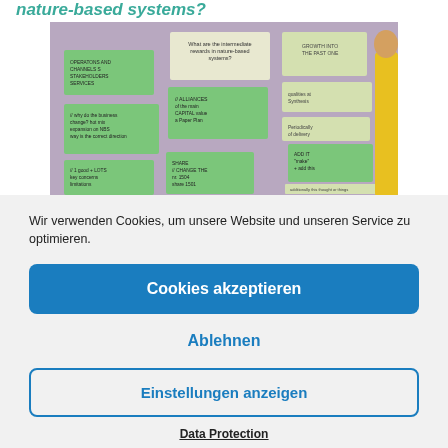nature-based systems?
[Figure (photo): A bulletin board with multiple green and beige sticky notes with handwritten text about nature-based systems, and a person in yellow visible at the right edge.]
Wir verwenden Cookies, um unsere Website und unseren Service zu optimieren.
Cookies akzeptieren
Ablehnen
Einstellungen anzeigen
Data Protection